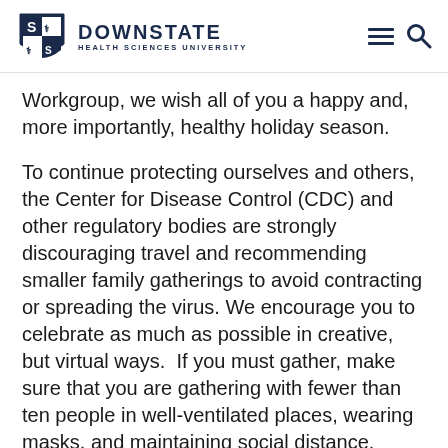DOWNSTATE HEALTH SCIENCES UNIVERSITY
Workgroup, we wish all of you a happy and, more importantly, healthy holiday season.
To continue protecting ourselves and others, the Center for Disease Control (CDC) and other regulatory bodies are strongly discouraging travel and recommending smaller family gatherings to avoid contracting or spreading the virus. We encourage you to celebrate as much as possible in creative, but virtual ways.  If you must gather, make sure that you are gathering with fewer than ten people in well-ventilated places, wearing masks, and maintaining social distance.